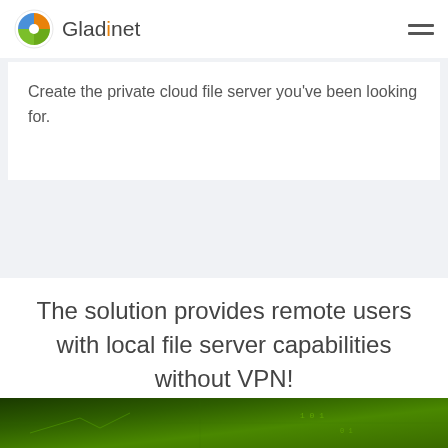Gladinet
Create the private cloud file server you've been looking for.
The solution provides remote users with local file server capabilities without VPN!
[Figure (photo): Green digital technology background with binary code and circuit elements]